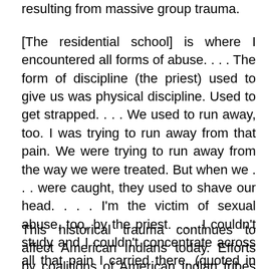resulting from massive group trauma.
[The residential school] is where I encountered all forms of abuse. . . . The form of discipline (the priest) used to give us was physical discipline. Used to get strapped. . . . We used to run away, too. I was trying to run away from that pain. We were trying to run away from the way we were treated. But when we . . . were caught, they used to shave our head. . . . I'm the victim of sexual abuse, too, by the priest. . . . I couldn't study and I couldn't concentrate across all that pain I carried there. (quoted in Gone, 2009, p. 755)
This historical trauma continues to affect American Indians today. Efforts by coalitions of American Indian tribes and